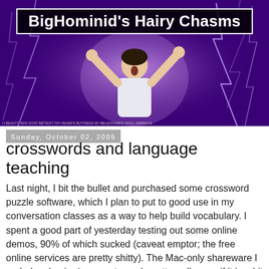[Figure (photo): Blog banner image for 'BigHominid's Hairy Chasms' showing a man with arms raised against a purple lightning background, with the blog title in a black bordered box at the top.]
Sunday, October 02, 2005
crosswords and language teaching
Last night, I bit the bullet and purchased some crossword puzzle software, which I plan to put to good use in my conversation classes as a way to help build vocabulary. I spent a good part of yesterday testing out some online demos, 90% of which sucked (caveat emptor; the free online services are pretty shitty). The Mac-only shareware I ended up buying* seems to work pretty well, even if it is a bit clunky